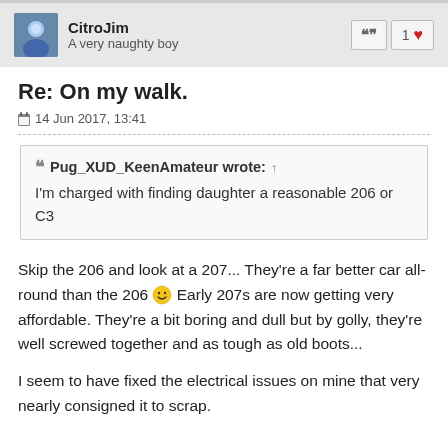CitroJim
A very naughty boy
Re: On my walk.
14 Jun 2017, 13:41
Pug_XUD_KeenAmateur wrote: ↑
I'm charged with finding daughter a reasonable 206 or C3
Skip the 206 and look at a 207... They're a far better car all-round than the 206 😊 Early 207s are now getting very affordable. They're a bit boring and dull but by golly, they're well screwed together and as tough as old boots...
I seem to have fixed the electrical issues on mine that very nearly consigned it to scrap.